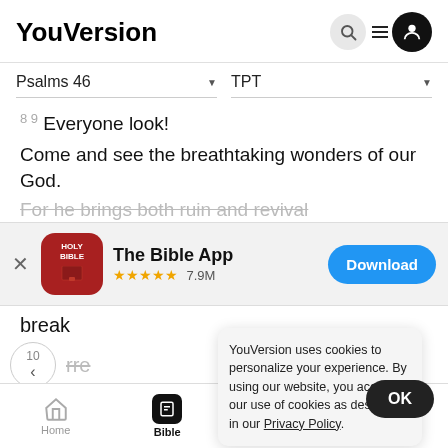YouVersion
Psalms 46  TPT
8 9 Everyone look!
Come and see the breathtaking wonders of our God.
For he brings both ruin and revival
[Figure (screenshot): The Bible App download banner with app icon, star rating 7.9M, and Download button]
break
10 rre
Be sti
YouVersion uses cookies to personalize your experience. By using our website, you accept our use of cookies as described in our Privacy Policy.
Home  Bible  Plans  Videos